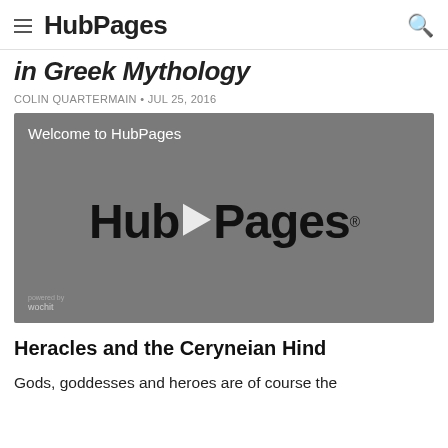HubPages
in Greek Mythology
COLIN QUARTERMAIN • JUL 25, 2016
[Figure (screenshot): HubPages video player thumbnail showing 'Welcome to HubPages' text at top left, HubPages logo in large script font centered with a play button triangle overlaid, and 'powered by wochit' badge at bottom left. Dark grey background.]
Heracles and the Ceryneian Hind
Gods, goddesses and heroes are of course the